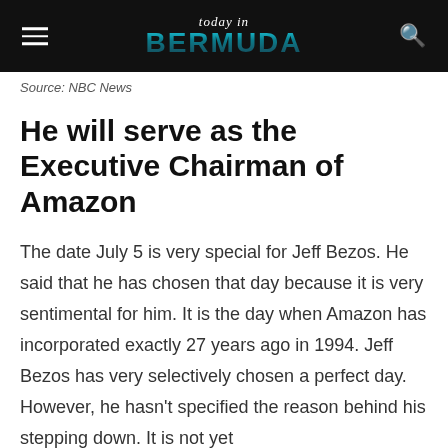today in BERMUDA
Source: NBC News
He will serve as the Executive Chairman of Amazon
The date July 5 is very special for Jeff Bezos. He said that he has chosen that day because it is very sentimental for him. It is the day when Amazon has incorporated exactly 27 years ago in 1994. Jeff Bezos has very selectively chosen a perfect day. However, he hasn't specified the reason behind his stepping down. It is not yet clear...